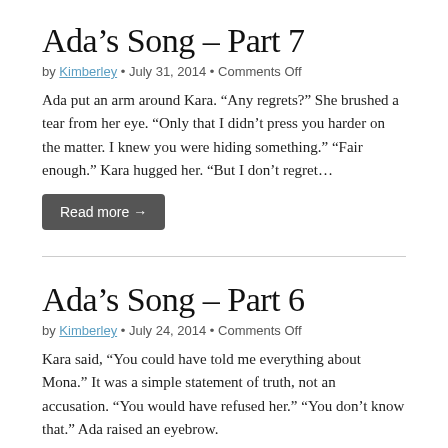Ada’s Song – Part 7
by Kimberley • July 31, 2014 • Comments Off
Ada put an arm around Kara. “Any regrets?” She brushed a tear from her eye. “Only that I didn’t press you harder on the matter. I knew you were hiding something.” “Fair enough.” Kara hugged her. “But I don’t regret…
Read more →
Ada’s Song – Part 6
by Kimberley • July 24, 2014 • Comments Off
Kara said, “You could have told me everything about Mona.” It was a simple statement of truth, not an accusation. “You would have refused her.” “You don’t know that.” Ada raised an eyebrow.